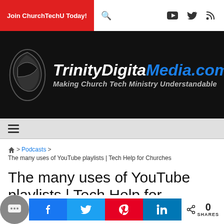Join ChurchTechU Today!
[Figure (logo): TrinityDigitalMedia.com logo with tagline 'Making Church Tech Ministry Understandable' on black background]
Navigation hamburger menu
🏠 > Podcasts > The many uses of YouTube playlists | Tech Help for Churches
The many uses of YouTube playlists | Tech Help for Churches
[Figure (infographic): Social share buttons: Facebook, Twitter, Pinterest, LinkedIn. Share count: 0 SHARES]